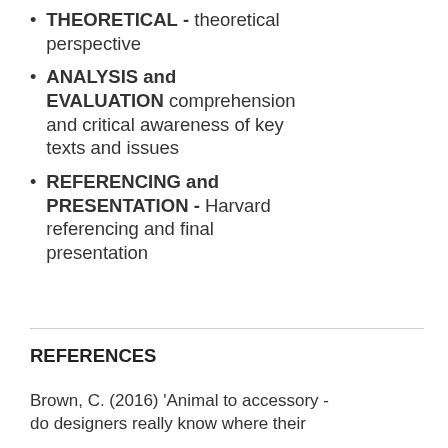THEORETICAL - theoretical perspective
ANALYSIS and EVALUATION comprehension and critical awareness of key texts and issues
REFERENCING and PRESENTATION - Harvard referencing and final presentation
REFERENCES
Brown, C. (2016) 'Animal to accessory - do designers really know where their